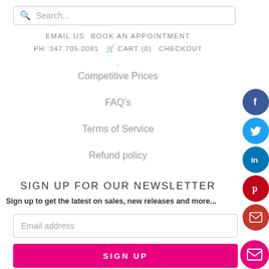Search...
EMAIL US   BOOK AN APPOINTMENT   PH: 347.705.0081   CART (0)   CHECKOUT
-
Competitive Prices
FAQ's
Terms of Service
Refund policy
SIGN UP FOR OUR NEWSLETTER
Sign up to get the latest on sales, new releases and more...
Email address
SIGN UP